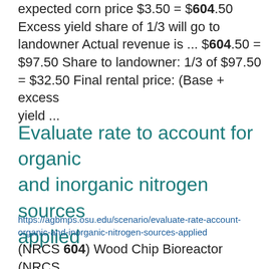expected corn price $3.50 = $604.50 Excess yield share of 1/3 will go to landowner Actual revenue is ... $604.50 = $97.50 Share to landowner: 1/3 of $97.50 = $32.50 Final rental price: (Base + excess yield ...
Evaluate rate to account for organic and inorganic nitrogen sources applied
https://agbmps.osu.edu/scenario/evaluate-rate-account-organic-and-inorganic-nitrogen-sources-applied
(NRCS 604) Wood Chip Bioreactor (NRCS 605) Nutrient Management Plan (NRCS 590) by Crop Application of...